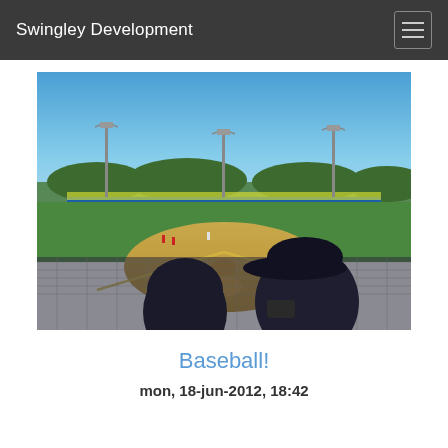Swingley Development
[Figure (photo): Outdoor baseball field viewed from behind a chain-link fence in the stands. Two spectators are visible in silhouette in the foreground. The field shows a dirt infield diamond, green outfield grass, yellow foul lines, and several light poles. Players are visible on the field. Blue sky with light clouds in the background, and trees and outfield wall signage visible beyond the fence.]
Baseball!
mon, 18-jun-2012, 18:42